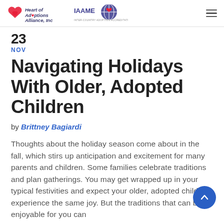Heart of Adoptions Alliance, Inc | IAAME
23
NOV
Navigating Holidays With Older, Adopted Children
by Brittney Bagiardi
Thoughts about the holiday season come about in the fall, which stirs up anticipation and excitement for many parents and children. Some families celebrate traditions and plan gatherings. You may get wrapped up in your typical festivities and expect your older, adopted child to experience the same joy. But the traditions that can be enjoyable for you can